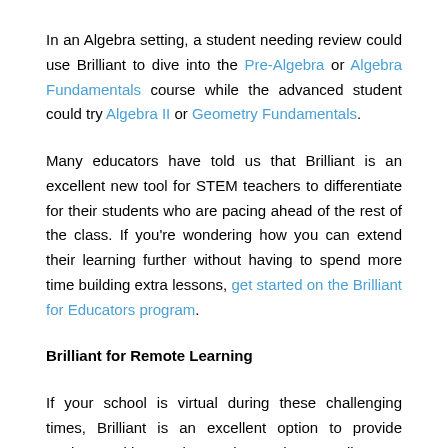In an Algebra setting, a student needing review could use Brilliant to dive into the Pre-Algebra or Algebra Fundamentals course while the advanced student could try Algebra II or Geometry Fundamentals.
Many educators have told us that Brilliant is an excellent new tool for STEM teachers to differentiate for their students who are pacing ahead of the rest of the class. If you're wondering how you can extend their learning further without having to spend more time building extra lessons, get started on the Brilliant for Educators program.
Brilliant for Remote Learning
If your school is virtual during these challenging times, Brilliant is an excellent option to provide students with practice and growth at a distance. Brilliant's Classroom feature makes it easy to assign any Brilliant lesson(s) onto Google Classroom and the progress monitoring dashboards allow teachers to see how students move through the lessons.